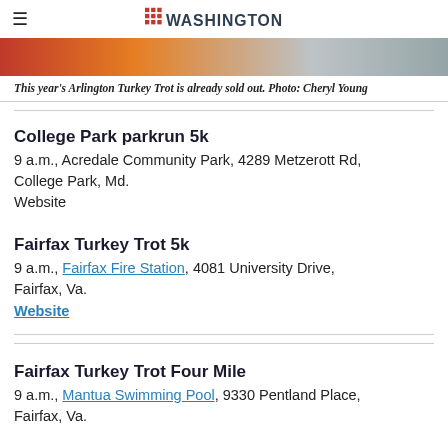≡  [Washington logo]
[Figure (photo): Top portion of a photo showing orange and grey colors, partially cropped]
This year's Arlington Turkey Trot is already sold out. Photo: Cheryl Young
College Park parkrun 5k
9 a.m., Acredale Community Park, 4289 Metzerott Rd, College Park, Md.
Website
Fairfax Turkey Trot 5k
9 a.m., Fairfax Fire Station, 4081 University Drive, Fairfax, Va.
Website
Fairfax Turkey Trot Four Mile
9 a.m., Mantua Swimming Pool, 9330 Pentland Place, Fairfax, Va.